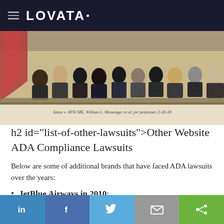LOVATA
[Figure (illustration): Courtroom sketch showing people seated in a courtroom, with caption: Janus v. AFSCME, William L. Messenger et al, for petitioner, 2-26-18]
h2 id="list-of-other-lawsuits">Other Website ADA Compliance Lawsuits
Below are some of additional brands that have faced ADA lawsuits over the years:
JetBlue Airways in 2010;
Quizno's;
in | f | Twitter | email | share